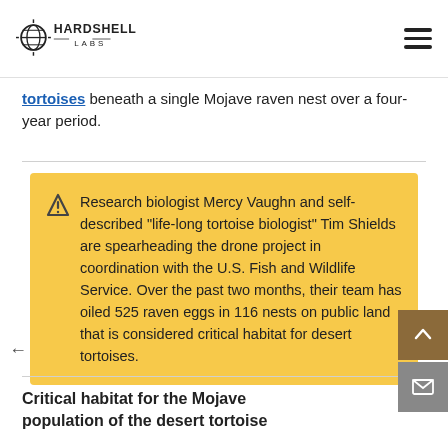Hardshell Labs
tortoises beneath a single Mojave raven nest over a four-year period.
Research biologist Mercy Vaughn and self-described “life-long tortoise biologist” Tim Shields are spearheading the drone project in coordination with the U.S. Fish and Wildlife Service. Over the past two months, their team has oiled 525 raven eggs in 116 nests on public land that is considered critical habitat for desert tortoises.
Critical habitat for the Mojave population of the desert tortoise